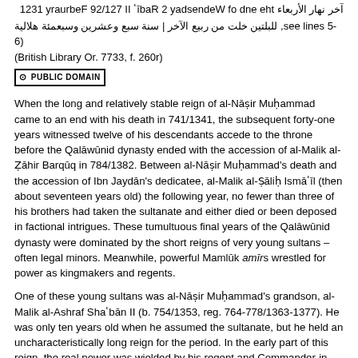the end of Wednesday 2 Rabīʿ II 721/29 February 1321 (آخر نهار الأربعاء); للبلتين خلت من ربيع الآخر | سنة سبع وعشرين وسبعمئة هلالية (British Library Or. 7733, f. 260r)
[Figure (logo): Public Domain Creative Commons badge/icon]
When the long and relatively stable reign of al-Nāṣir Muḥammad came to an end with his death in 741/1341, the subsequent forty-one years witnessed twelve of his descendants accede to the throne before the Qalāwūnid dynasty ended with the accession of al-Malik al-Ẓāhir Barqūq in 784/1382. Between al-Nāṣir Muḥammad's death and the accession of Ibn Jaydān's dedicatee, al-Malik al-Ṣāliḥ Ismāʿīl (then about seventeen years old) the following year, no fewer than three of his brothers had taken the sultanate and either died or been deposed in factional intrigues. These tumultuous final years of the Qalāwūnid dynasty were dominated by the short reigns of very young sultans – often legal minors. Meanwhile, powerful Mamlūk amīrs wrestled for power as kingmakers and regents.
One of these young sultans was al-Nāṣir Muḥammad's grandson, al-Malik al-Ashraf Shaʿbān II (b. 754/1353, reg. 764-778/1363-1377). He was only ten years old when he assumed the sultanate, but he held an uncharacteristically long reign for the period. In the early part of this reign, the real power was wielded by his regent and Commander-in-